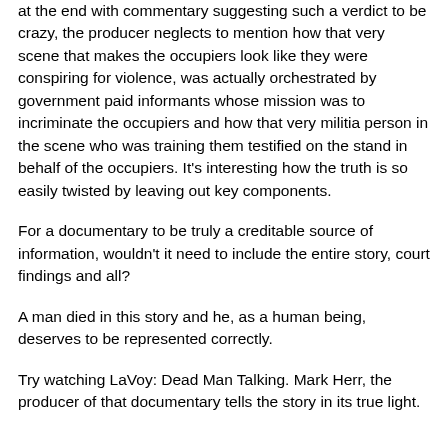at the end with commentary suggesting such a verdict to be crazy, the producer neglects to mention how that very scene that makes the occupiers look like they were conspiring for violence, was actually orchestrated by government paid informants whose mission was to incriminate the occupiers and how that very militia person in the scene who was training them testified on the stand in behalf of the occupiers. It's interesting how the truth is so easily twisted by leaving out key components.
For a documentary to be truly a creditable source of information, wouldn't it need to include the entire story, court findings and all?
A man died in this story and he, as a human being, deserves to be represented correctly.
Try watching LaVoy: Dead Man Talking. Mark Herr, the producer of that documentary tells the story in its true light.